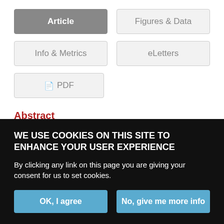Article
Figures & Data
Info & Metrics
eLetters
PDF
Abstract
rPSGL-Ig is a recombinant, soluble, and chimeric form of P-selectin glycoprotein ligand-1, which is developed as an antagonist to P-
WE USE COOKIES ON THIS SITE TO ENHANCE YOUR USER EXPERIENCE
By clicking any link on this page you are giving your consent for us to set cookies.
OK, I agree
No, give me more info